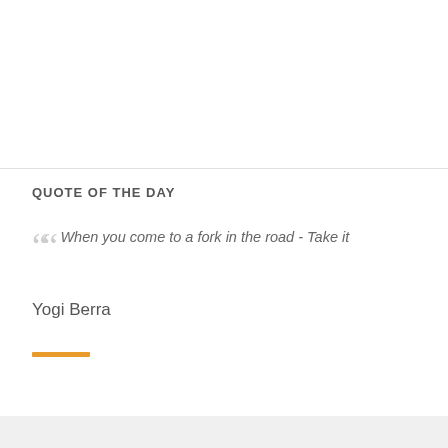QUOTE OF THE DAY
““ When you come to a fork in the road - Take it
Yogi Berra